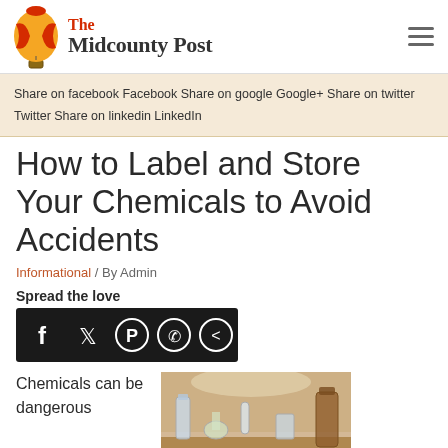The Midcounty Post
Share on facebook Facebook Share on google Google+ Share on twitter Twitter Share on linkedin LinkedIn
How to Label and Store Your Chemicals to Avoid Accidents
Informational / By Admin
Spread the love
[Figure (infographic): Social sharing icons bar with dark background showing Facebook, Twitter, Pinterest, WhatsApp, and Share icons]
Chemicals can be dangerous
[Figure (photo): Laboratory photo showing glass beakers and bottles on a table]